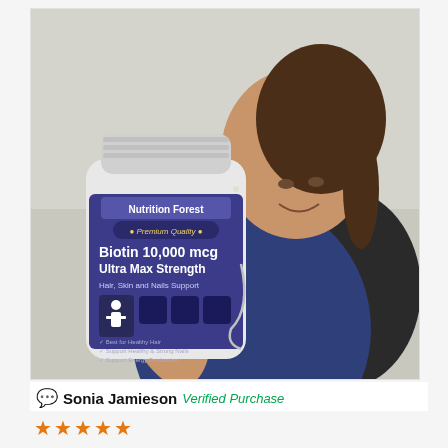[Figure (photo): A woman in navy blue scrubs holding up a white supplement bottle labeled 'Nutrition Forest Premium Quality Biotin 10,000 mcg Ultra Max Strength Hair, Skin and Nails Support', smiling at the camera. She appears to be seated and wears a stethoscope. The background is a neutral/gray office setting.]
Sonia Jamieson  Verified Purchase
[Figure (other): Five gold/orange star rating icons indicating a 5-star review]